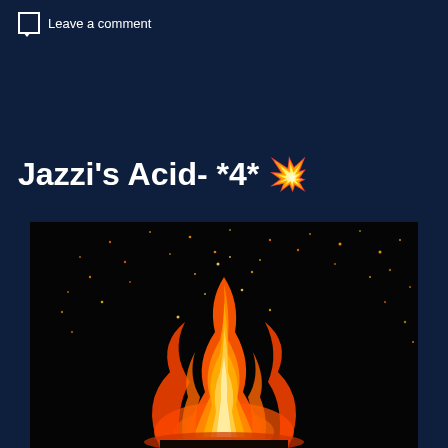Leave a comment
Jazzi's Acid- *4* 💥
[Figure (photo): Night-time photograph of a large bonfire with bright orange and yellow flames rising upward, with glowing embers and sparks scattered against a dark black background]